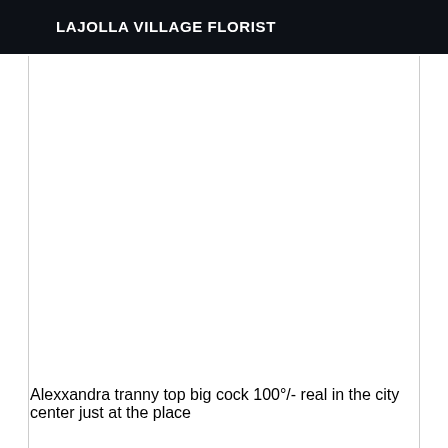LAJOLLA VILLAGE FLORIST
Alexxandra tranny top big cock 100°/- real in the city center just at the place